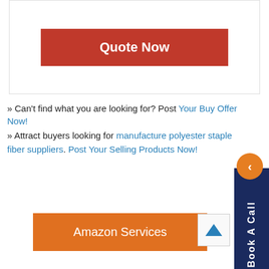[Figure (screenshot): Red 'Quote Now' button inside a bordered card]
» Can't find what you are looking for? Post Your Buy Offer Now!
» Attract buyers looking for manufacture polyester staple fiber suppliers. Post Your Selling Products Now!
[Figure (other): Orange circle with left arrow chevron and dark blue vertical 'Book A Call' sidebar]
[Figure (other): Orange 'Amazon Services' button]
[Figure (other): Up arrow button with blue arrow icon]